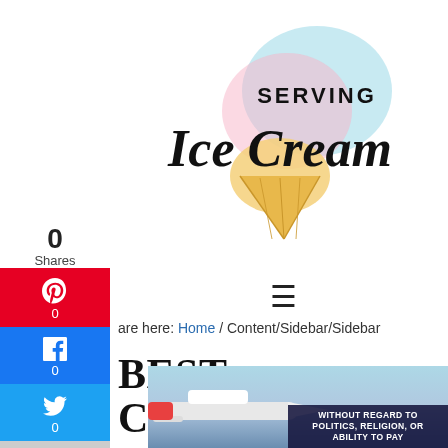[Figure (logo): Serving Ice Cream logo with colorful ice cream scoop illustration and stylized text]
0
Shares
[Figure (infographic): Social sharing sidebar with Pinterest (0), Facebook (0), Twitter (0), and more (+) buttons]
≡
are here: Home / Content/Sidebar/Sidebar
BEST CHOCOLATE ICE CREAM RECIPE (+ VIDEOS)
[Figure (photo): Advertisement banner showing an airplane on a tarmac with text WITHOUT REGARD TO POLITICS, RELIGION, OR ABILITY TO PAY]